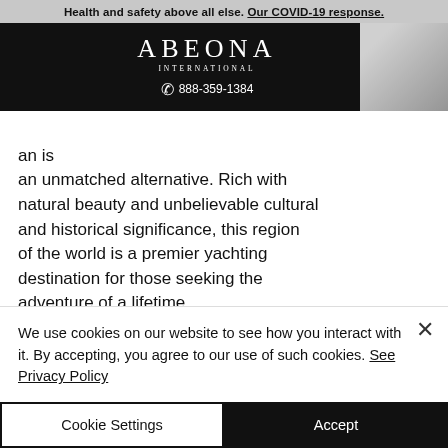Health and safety above all else. Our COVID-19 response.
[Figure (logo): Abeona International logo with phone number 888-359-1384 on dark navbar]
dar for an is an unmatched alternative. Rich with natural beauty and unbelievable cultural and historical significance, this region of the world is a premier yachting destination for those seeking the adventure of a lifetime.
From mouthwatering cuisine and cultural centers to pristine open waters
We use cookies on our website to see how you interact with it. By accepting, you agree to our use of such cookies. See Privacy Policy
Cookie Settings
Accept